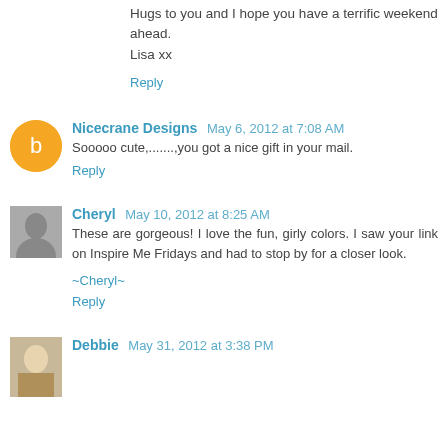Hugs to you and I hope you have a terrific weekend ahead. Lisa xx
Reply
Nicecrane Designs May 6, 2012 at 7:08 AM
Sooooo cute,.......,you got a nice gift in your mail.
Reply
Cheryl May 10, 2012 at 8:25 AM
These are gorgeous! I love the fun, girly colors. I saw your link on Inspire Me Fridays and had to stop by for a closer look.

~Cheryl~
Reply
Debbie May 31, 2012 at 3:38 PM